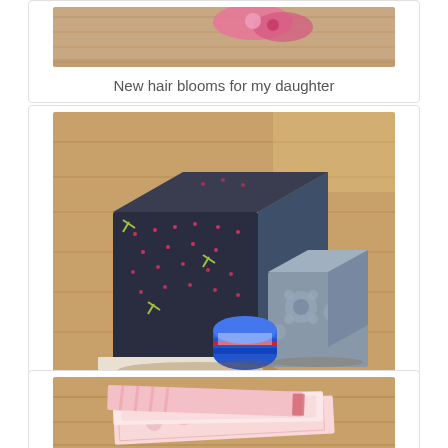[Figure (photo): Partial view of pink hair blooms/flower accessories on a surface]
New hair blooms for my daughter
[Figure (photo): Three fabric baby blocks of different sizes on a wooden floor — a large dark blue dotted block, a medium grey floral block, and a small colorful roll-shaped block]
Baby blocks!
[Figure (photo): Partial view of pink and white patterned fabric pieces/burp cloths on a wooden surface]